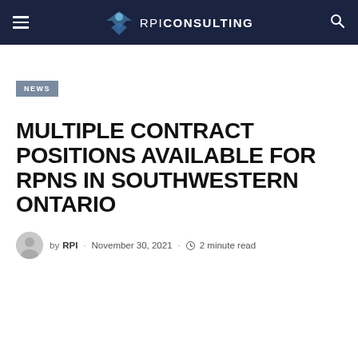RPI CONSULTING
NEWS
MULTIPLE CONTRACT POSITIONS AVAILABLE FOR RPNS IN SOUTHWESTERN ONTARIO
by RPI · November 30, 2021 · 2 minute read